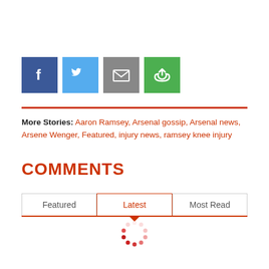[Figure (other): Social share buttons: Facebook (blue), Twitter (light blue), Email (gray), Share/refresh (green)]
More Stories: Aaron Ramsey, Arsenal gossip, Arsenal news, Arsene Wenger, Featured, injury news, ramsey knee injury
COMMENTS
Featured | Latest | Most Read (tab navigation with Latest selected)
[Figure (other): Loading spinner animation indicator]